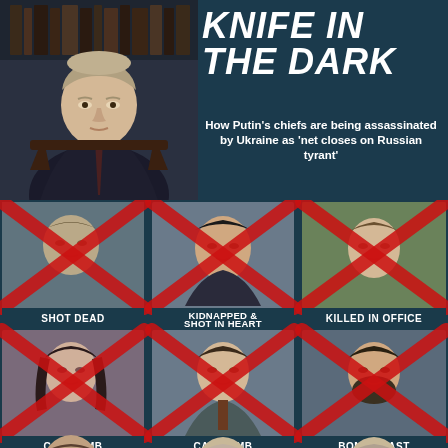[Figure (photo): Photo of Vladimir Putin sitting in a chair, wearing a dark suit and tie, looking stern. Dark library/office background.]
KNIFE IN THE DARK
How Putin's chiefs are being assassinated by Ukraine as 'net closes on Russian tyrant'
[Figure (infographic): Grid of 6 portraits each with a large red X over the face, with captions: SHOT DEAD, KIDNAPPED & SHOT IN HEART, KILLED IN OFFICE, CAR BOMB, CAR BOMB, BOMB BLAST. Bottom row shows 3 more partial portraits without captions.]